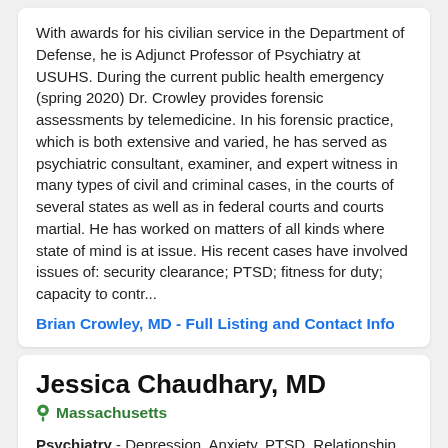With awards for his civilian service in the Department of Defense, he is Adjunct Professor of Psychiatry at USUHS. During the current public health emergency (spring 2020) Dr. Crowley provides forensic assessments by telemedicine. In his forensic practice, which is both extensive and varied, he has served as psychiatric consultant, examiner, and expert witness in many types of civil and criminal cases, in the courts of several states as well as in federal courts and courts martial. He has worked on matters of all kinds where state of mind is at issue. His recent cases have involved issues of: security clearance; PTSD; fitness for duty; capacity to contr...
Brian Crowley, MD - Full Listing and Contact Info
Jessica Chaudhary, MD
Massachusetts
Psychiatry - Depression, Anxiety, PTSD, Relationship Problems, Complicated medical illness, Substance abuse/addiction, ADHD, ADD, attention issues, Eating